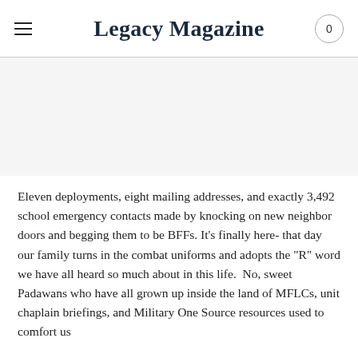Legacy Magazine
[Figure (photo): White/blank image placeholder area below the header navigation bar]
Eleven deployments, eight mailing addresses, and exactly 3,492 school emergency contacts made by knocking on new neighbor doors and begging them to be BFFs. It's finally here- that day our family turns in the combat uniforms and adopts the "R" word we have all heard so much about in this life.  No, sweet Padawans who have all grown up inside the land of MFLCs, unit chaplain briefings, and Military One Source resources used to comfort us